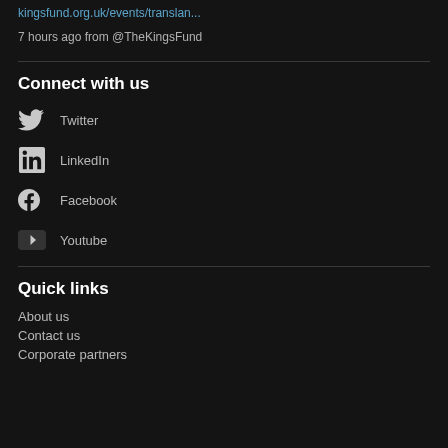kingsfund.org.uk/events/translan...
7 hours ago from @TheKingsFund
Connect with us
Twitter
LinkedIn
Facebook
Youtube
Quick links
About us
Contact us
Corporate partners